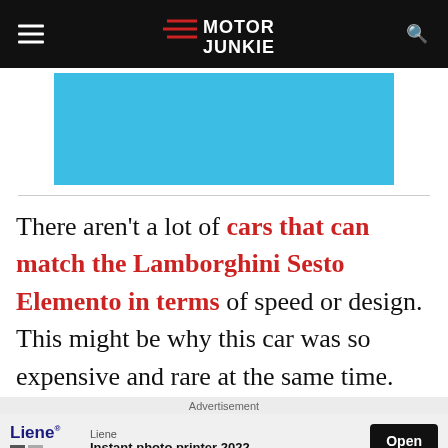Motor Junkie
[Figure (photo): Blue background image, partially visible]
There aren't a lot of cars that can match the Lamborghini Sesto Elemento in terms of speed or design. This might be why this car was so expensive and rare at the same time.
Advertisement
Liene · Instant photo printer 2022 Open